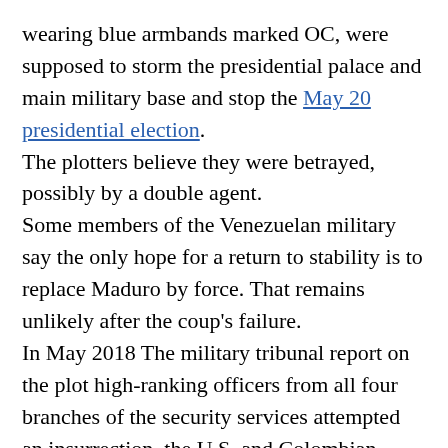wearing blue armbands marked OC, were supposed to storm the presidential palace and main military base and stop the May 20 presidential election. The plotters believe they were betrayed, possibly by a double agent. Some members of the Venezuelan military say the only hope for a return to stability is to replace Maduro by force. That remains unlikely after the coup's failure. In May 2018 The military tribunal report on the plot high-ranking officers from all four branches of the security services attempted an insurrection. the U.S. and Colombian governments provided financial backing and that there was a separate plot, Operation Armageddon, which called for Maduro's assassination at a military